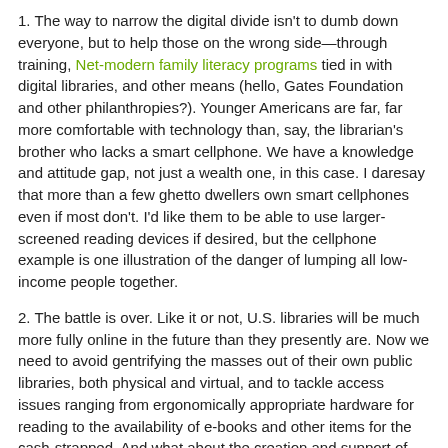1. The way to narrow the digital divide isn't to dumb down everyone, but to help those on the wrong side—through training, Net-modern family literacy programs tied in with digital libraries, and other means (hello, Gates Foundation and other philanthropies?). Younger Americans are far, far more comfortable with technology than, say, the librarian's brother who lacks a smart cellphone. We have a knowledge and attitude gap, not just a wealth one, in this case. I daresay that more than a few ghetto dwellers own smart cellphones even if most don't. I'd like them to be able to use larger-screened reading devices if desired, but the cellphone example is one illustration of the danger of lumping all low-income people together.
2. The battle is over. Like it or not, U.S. libraries will be much more fully online in the future than they presently are. Now we need to avoid gentrifying the masses out of their own public libraries, both physical and virtual, and to tackle access issues ranging from ergonomically appropriate hardware for reading to the availability of e-books and other items for the cash-strapped. And what about the creation and support of family literacy programs, hardly a core interest of academic librarians?